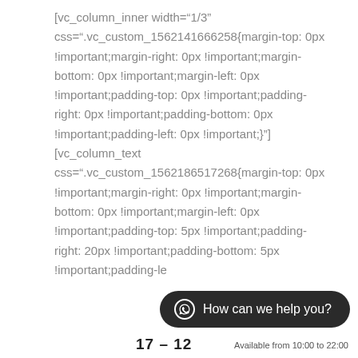[vc_column_inner width="1/3" css=".vc_custom_1562141666258{margin-top: 0px !important;margin-right: 0px !important;margin-bottom: 0px !important;margin-left: 0px !important;padding-top: 0px !important;padding-right: 0px !important;padding-bottom: 0px !important;padding-left: 0px !important;}"]
[vc_column_text css=".vc_custom_1562186517268{margin-top: 0px !important;margin-right: 0px !important;margin-bottom: 0px !important;margin-left: 0px !important;padding-top: 5px !important;padding-right: 20px !important;padding-bottom: 5px !important;padding-left: 0px !important;...}
[Figure (other): WhatsApp chat widget overlay showing 'How can we help you?' with availability note 'Available from 10:00 to 22:00']
17 – 12   Available from 10:00 to 22:00